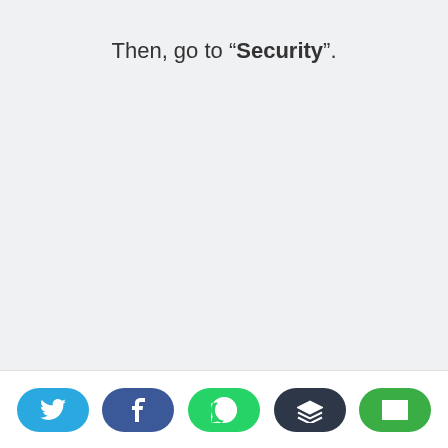Then, go to “Security”.
[Figure (other): Social sharing buttons row at bottom: Twitter (blue), Facebook (dark blue), WhatsApp (green), Buffer (dark gray), Email (green)]